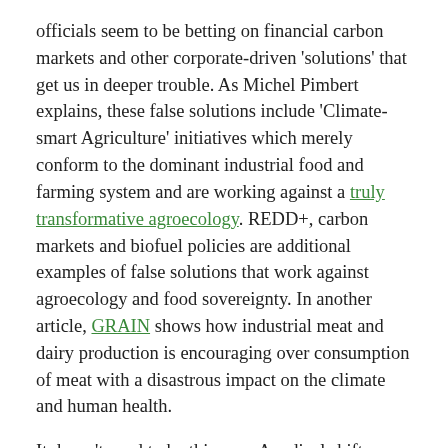officials seem to be betting on financial carbon markets and other corporate-driven 'solutions' that get us in deeper trouble. As Michel Pimbert explains, these false solutions include 'Climate-smart Agriculture' initiatives which merely conform to the dominant industrial food and farming system and are working against a truly transformative agroecology. REDD+, carbon markets and biofuel policies are additional examples of false solutions that work against agroecology and food sovereignty. In another article, GRAIN shows how industrial meat and dairy production is encouraging over consumption of meat with a disastrous impact on the climate and human health.
It doesn't need to be this way. A radical shift towards food sovereignty would go a long way in solving the climate crisis: agroecological practices would massively build back organic matter (carbon) into the soils and largely eliminate the need for chemical fertilizers, and a focus on local markets and fresh produce would reduce the need for long